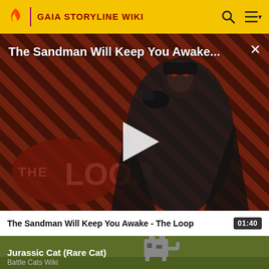GAIA STORYLINE WIKI
[Figure (screenshot): Video thumbnail for 'The Sandman Will Keep You Awake - The Loop' showing a dark figure in a black cape with a raven, against a red diagonal-striped background with 'THE LOOP' branding. A white play button triangle is centered on the image.]
The Sandman Will Keep You Awake - The Loop  01:40
[Figure (screenshot): Partial video card for 'Jurassic Cat (Rare Cat)' from Battle Cats Wiki, showing a pixel-art cat on a green background.]
Jurassic Cat (Rare Cat)
Battle Cats Wiki